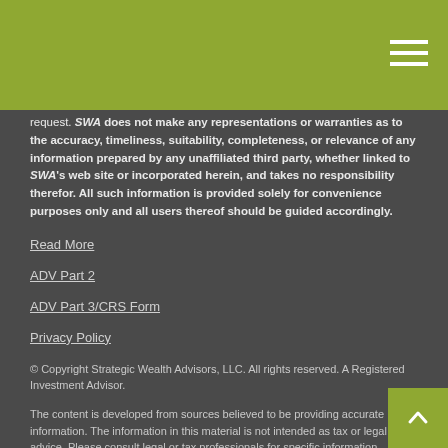request. SWA does not make any representations or warranties as to the accuracy, timeliness, suitability, completeness, or relevance of any information prepared by any unaffiliated third party, whether linked to SWA's web site or incorporated herein, and takes no responsibility therefor. All such information is provided solely for convenience purposes only and all users thereof should be guided accordingly.
Read More
ADV Part 2
ADV Part 3/CRS Form
Privacy Policy
© Copyright Strategic Wealth Advisors, LLC. All rights reserved. A Registered Investment Advisor.
The content is developed from sources believed to be providing accurate information. The information in this material is not intended as tax or legal advice. Please consult legal or tax professionals for specific information regarding your individual situation. Some of this material was developed and produced by Advisor Launchpad to provide information on a topic that may be of interest. Advisor Launchpad is not affiliated with the named representative, broker-dealer, state- or SEC-registered investment advisory firm. The opinions expressed and material provided are for general